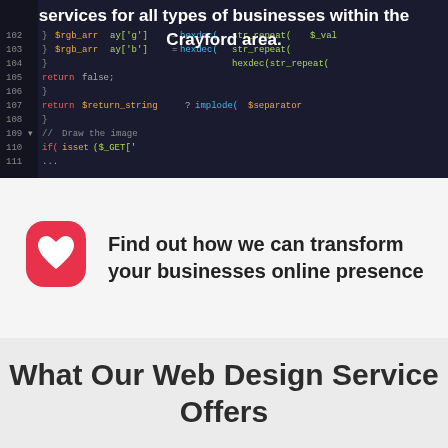[Figure (screenshot): Dark-themed code editor screenshot showing PHP code with syntax highlighting (green, red, white text on dark navy background). Lines 102-111 visible with code including $rgb_array, hexdec, str_repeat, return false, return $return_string, implode($separator), Draw the image comment, isset($_GET).]
services for all types of businesses within the Crayford area.
Find out how we can transform your businesses online presence
What Our Web Design Service Offers